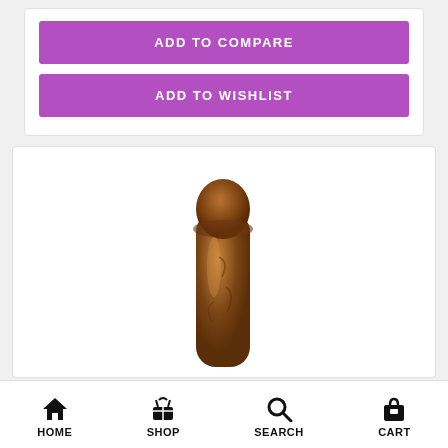ADD TO COMPARE
ADD TO WISHLIST
[Figure (photo): Product photo of a brown adult novelty item on white background]
HOME  SHOP  SEARCH  CART